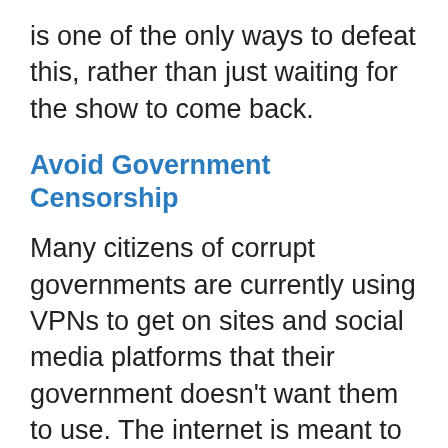is one of the only ways to defeat this, rather than just waiting for the show to come back.
Avoid Government Censorship
Many citizens of corrupt governments are currently using VPNs to get on sites and social media platforms that their government doesn't want them to use. The internet is meant to be international and neutral, but some governments don't believe in allowing their citizens to view anything they want. When citizens of other countries are traveling abroad, they can get hit by these restrictions. That can be especially frustrating for a traveler who wants to be able to keep in touch with their family but